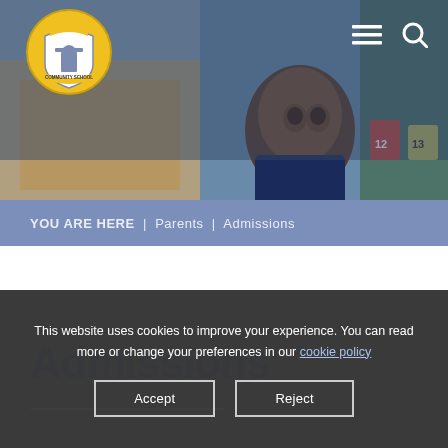[Figure (screenshot): School website screenshot showing a smiling child in school uniform in a classroom, with a school logo/crest in the top left and hamburger menu and search icons in the top right]
YOU ARE HERE  |  Parents  |  Admissions
Admissions
This website uses cookies to improve your experience. You can read more or change your preferences in our cookie policy
Accept
Reject